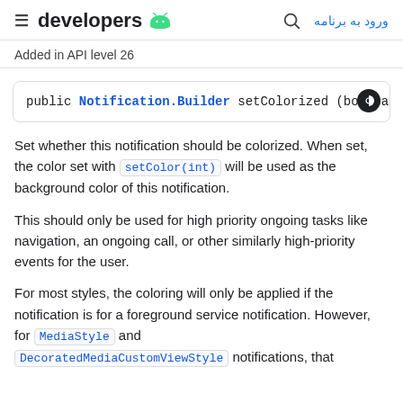developers | ورود به برنامه
Added in API level 26
[Figure (screenshot): Code block showing: public Notification.Builder setColorized (boolean co]
Set whether this notification should be colorized. When set, the color set with setColor(int) will be used as the background color of this notification.

This should only be used for high priority ongoing tasks like navigation, an ongoing call, or other similarly high-priority events for the user.

For most styles, the coloring will only be applied if the notification is for a foreground service notification. However, for MediaStyle and DecoratedMediaCustomViewStyle notifications, that